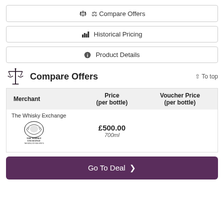Compare Offers
Historical Pricing
Product Details
Compare Offers
| Merchant | Price (per bottle) | Voucher Price (per bottle) |
| --- | --- | --- |
| The Whisky Exchange | £500.00 700ml |  |
Go To Deal